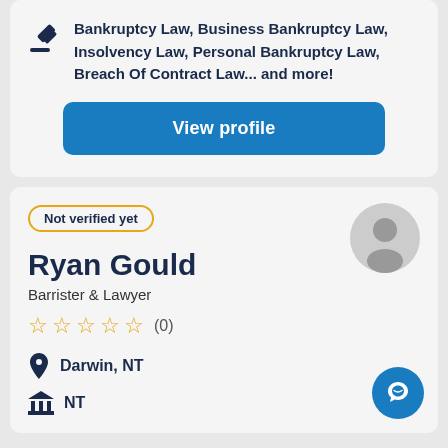Bankruptcy Law, Business Bankruptcy Law, Insolvency Law, Personal Bankruptcy Law, Breach Of Contract Law... and more!
View profile
Not verified yet
Ryan Gould
Barrister & Lawyer
★★★★★ (0)
Darwin, NT
NT